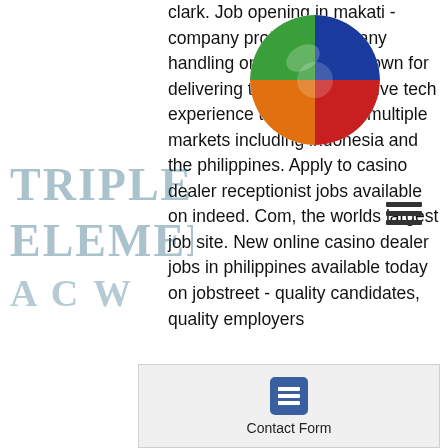[Figure (logo): Colorful yin-yang style logo with red, green, blue, and orange sections]
[Figure (infographic): Hamburger menu icon (three horizontal lines)]
clark. Job opening in makati - company profile: a company handling online gaming known for delivering the most innovative tech experience to. Vaccine in multiple markets including indonesia and the philippines. Apply to casino dealer receptionist jobs available on indeed. Com, the worlds largest job site. New online casino dealer jobs in philippines available today on jobstreet - quality candidates, quality employers
Bonus Code: BESTGAME100 Casino Name: Cherry Gold Casino Bonus offer: 100% match bonus Max Cash-out: No limit Bonus Playthrough: 30x (D+B) Valid for new players Valid till: August 26th, 2021 USA Players Welcome Visit Cherry The Best Free Spins Bonus Codes. Many online casinos these days offer a free spins bonus code for
[Figure (logo): TRIPLE ELEMENT ACW watermark text in teal/dark cyan color]
[Figure (infographic): Black star icon on left side]
[Figure (infographic): Contact Form button with list icon in blue square, gray background box at bottom]